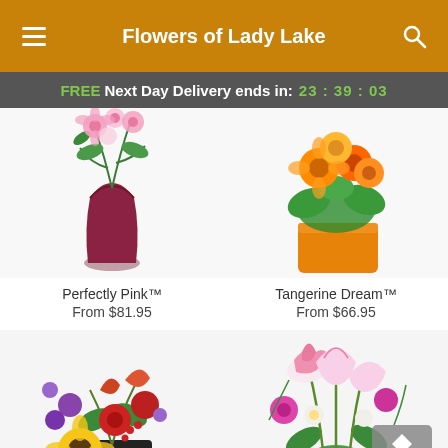Flowers of Lady Lake
FREE Next Day Delivery ends in: 23 : 39 : 03
[Figure (photo): Pink flower bouquet in a dark red/maroon vase - Perfectly Pink arrangement]
[Figure (photo): Orange and yellow flowers in an orange rectangular vase - Tangerine Dream arrangement]
Perfectly Pink™
From $81.95
Tangerine Dream™
From $66.95
[Figure (photo): Colorful autumn bouquet with sunflowers, red roses, purple flowers in dark container]
[Figure (photo): Pink stargazer lily bouquet with purple and white flowers]